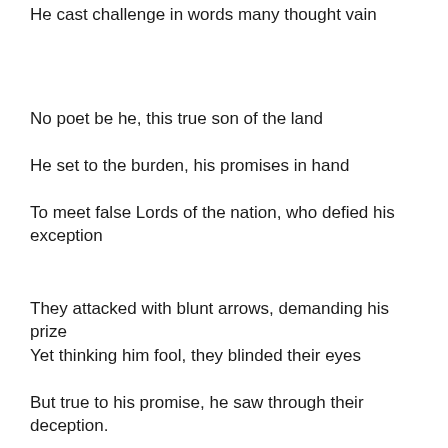He cast challenge in words many thought vain
No poet be he, this true son of the land
He set to the burden, his promises in hand
To meet false Lords of the nation, who defied his exception
They attacked with blunt arrows, demanding his prize
Yet thinking him fool, they blinded their eyes
But true to his promise, he saw through their deception.